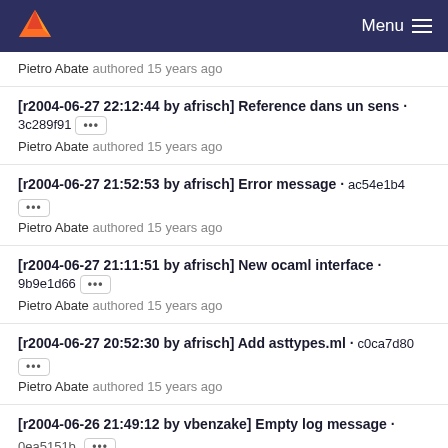Menu
Pietro Abate authored 15 years ago
[r2004-06-27 22:12:44 by afrisch] Reference dans un sens · 3c289f91 ··· Pietro Abate authored 15 years ago
[r2004-06-27 21:52:53 by afrisch] Error message · ac54e1b4 ··· Pietro Abate authored 15 years ago
[r2004-06-27 21:11:51 by afrisch] New ocaml interface · 9b9e1d66 ··· Pietro Abate authored 15 years ago
[r2004-06-27 20:52:30 by afrisch] Add asttypes.ml · c0ca7d80 ··· Pietro Abate authored 15 years ago
[r2004-06-26 21:49:12 by vbenzake] Empty log message · 0ea5151b ···